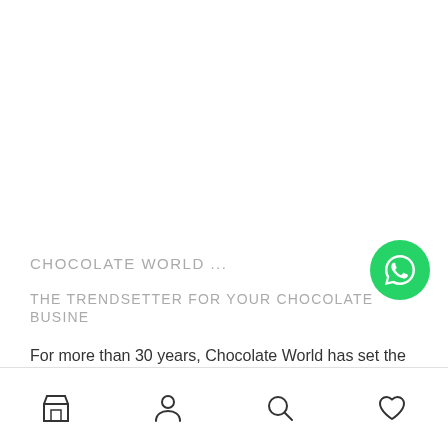CHOCOLATE WORLD ...
THE TRENDSETTER FOR YOUR CHOCOLATE BUSINESS
For more than 30 years, Chocolate World has set the
[Figure (illustration): WhatsApp button - green circle with white WhatsApp speech bubble logo]
Bottom navigation bar with store, person, search, and heart icons